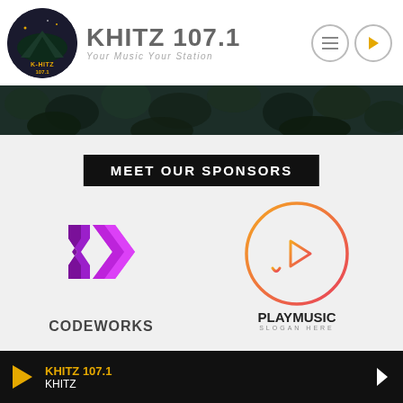[Figure (logo): KHITZ 107.1 radio station logo - circular dark logo with mountain silhouette and K-HITZ 107.1 text]
KHITZ 107.1
Your Music Your Station
[Figure (illustration): Dark green foliage/leaves background banner]
MEET OUR SPONSORS
[Figure (logo): CodeWorks logo - purple/magenta angular P shape geometric mark with CODEWORKS text below]
[Figure (logo): PlayMusic logo - circular orange-to-pink gradient ring with play button and music bars icon inside, PLAYMUSIC text with SLOGAN HERE below]
KHITZ 107.1 KHITZ